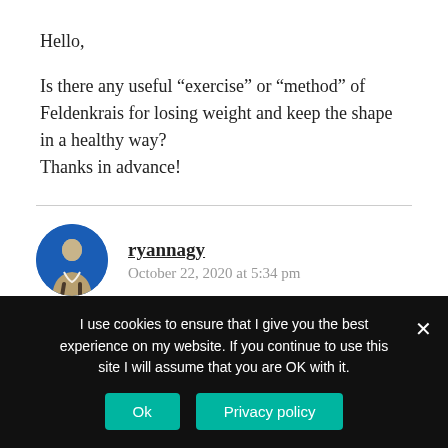Hello,

Is there any useful “exercise” or “method” of Feldenkrais for losing weight and keep the shape in a healthy way?
Thanks in advance!
ryannagy
October 22, 2020 at 5:34 pm
I use cookies to ensure that I give you the best experience on my website. If you continue to use this site I will assume that you are OK with it.